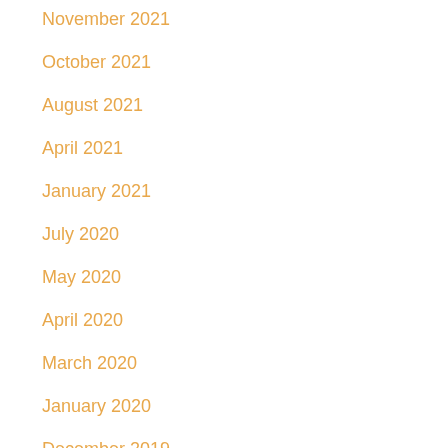November 2021
October 2021
August 2021
April 2021
January 2021
July 2020
May 2020
April 2020
March 2020
January 2020
December 2019
November 2019
October 2019
September 2019
August 2019